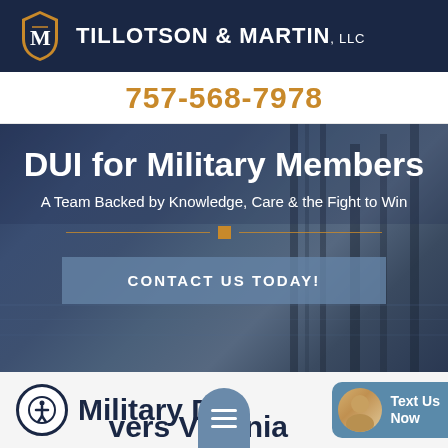TILLOTSON & MARTIN, LLC
757-568-7978
[Figure (screenshot): Hero banner with dark blue background showing a waterfront pier scene, containing headline 'DUI for Military Members', subtitle 'A Team Backed by Knowledge, Care & the Fight to Win', a decorative divider with orange square, and a 'CONTACT US TODAY!' button]
Military DUI    vers Virginia
Text Us Now